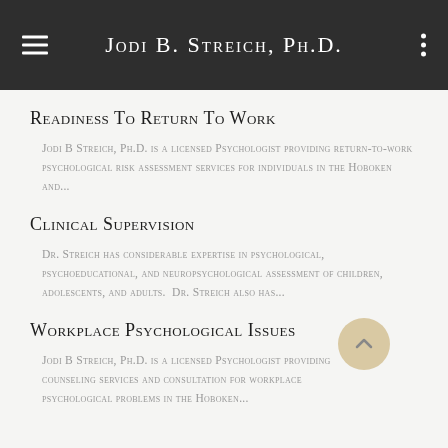Jodi B. Streich, Ph.D.
Readiness To Return To Work
Jodi B Streich, Ph.D. is a licensed Psychologist providing return-to-work psychological risk assessment services for individuals in the Hoboken and...
Clinical Supervision
Dr. Streich has considerable expertise in psychological, psychoeducational, and neuropsychological assessment of children, adolescents, and adults. Dr. Streich also has...
Workplace Psychological Issues
Jodi B Streich, Ph.D. is a licensed Psychologist providing counseling services and consultation for workplace psychological problems in the Hoboken...